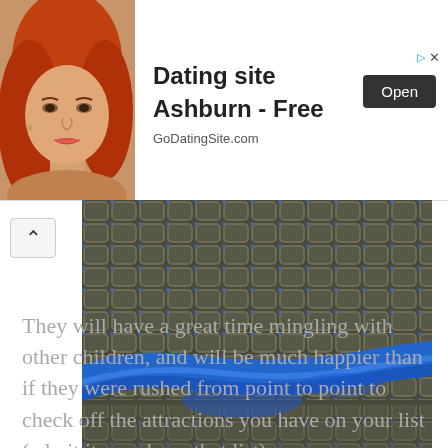[Figure (photo): Advertisement banner showing a young woman with long red/auburn hair, with text 'Dating site Ashburn - Free', 'GoDatingSite.com', and an 'Open' button]
[Figure (photo): Close-up photograph of blue netting/rope mesh material with sand or gravel visible through the net openings]
They will have a great time mingling with other children, and will be much happier than if they were rushed from point to point to check off the attractions you have on your list (admit it, you have that list).